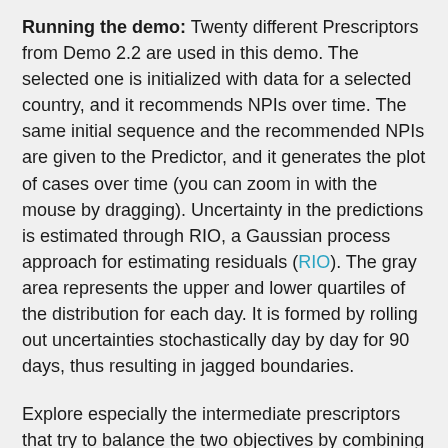Running the demo: Twenty different Prescriptors from Demo 2.2 are used in this demo. The selected one is initialized with data for a selected country, and it recommends NPIs over time. The same initial sequence and the recommended NPIs are given to the Predictor, and it generates the plot of cases over time (you can zoom in with the mouse by dragging). Uncertainty in the predictions is estimated through RIO, a Gaussian process approach for estimating residuals (RIO). The gray area represents the upper and lower quartiles of the distribution for each day. It is formed by rolling out uncertainties stochastically day by day for 90 days, thus resulting in jagged boundaries.
Explore especially the intermediate prescriptors that try to balance the two objectives by combining and alternating various NPI recommendations. You can also go back in time and see what recommendations the AI would have made, and how such "counterfactual" NPIs